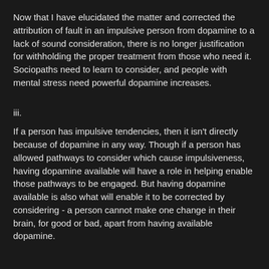Now that I have elucidated the matter and corrected the attribution of fault in an impulsive person from dopamine to a lack of sound consideration, there is no longer justification for withholding the proper treatment from those who need it. Sociopaths need to learn to consider, and people with mental stress need powerful dopamine increases.
iii.
If a person has impulsive tendencies, then it isn't directly because of dopamine in any way. Though if a person has allowed pathways to consider which cause impulsiveness, having dopamine available will have a role in helping enable those pathways to be engaged. But having dopamine available is also what will enable it to be corrected by considering - a person cannot make one change in their brain, for good or bad, apart from having available dopamine.